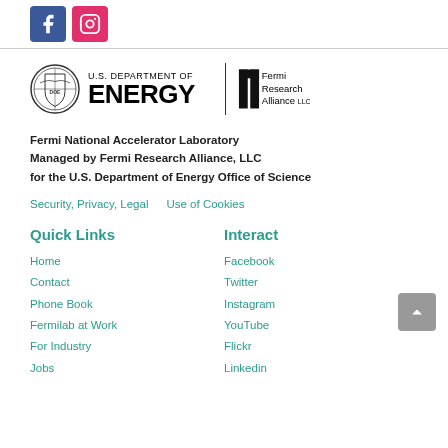[Figure (logo): Facebook and Instagram social media icons]
[Figure (logo): U.S. Department of Energy and Fermi Research Alliance LLC logos]
Fermi National Accelerator Laboratory
Managed by Fermi Research Alliance, LLC
for the U.S. Department of Energy Office of Science
Security, Privacy, Legal    Use of Cookies
Quick Links
Home
Contact
Phone Book
Fermilab at Work
For Industry
Jobs
Interact
Facebook
Twitter
Instagram
YouTube
Flickr
Linkedin